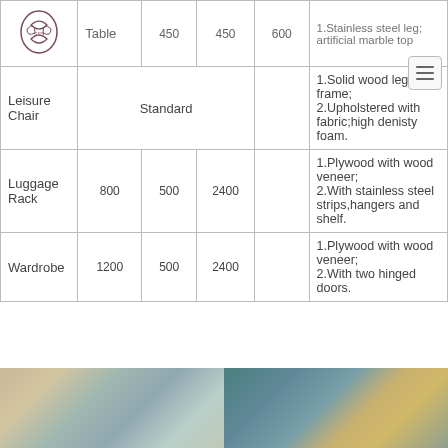| Item | W(mm) | D(mm) | H(mm) | Description |
| --- | --- | --- | --- | --- |
| Table | 450 | 450 | 600 | 1.Stainless steel leg; artificial marble top |
| Leisure Chair | Standard |  |  | 1.Solid wood leg and frame;
2.Upholstered with fabric;high denisty foam. |
| Luggage Rack | 800 | 500 | 2400 | 1.Plywood with wood veneer;
2.With stainless steel strips,hangers and shelf. |
| Wardrobe | 1200 | 500 | 2400 | 1.Plywood with wood veneer;
2.With two hinged doors. |
[Figure (photo): Two product photos side by side showing hotel furniture items]